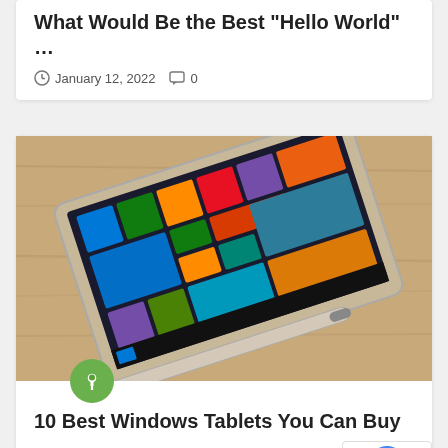What Would Be the Best “Hello World” …
January 12, 2022   0
[Figure (photo): A Windows tablet (Surface-style) lying flat on a wooden table with a stylus pen beside it, showing a colorful Windows Start screen tiles on the display.]
10 Best Windows Tablets You Can Buy …
December 29, 2021   0